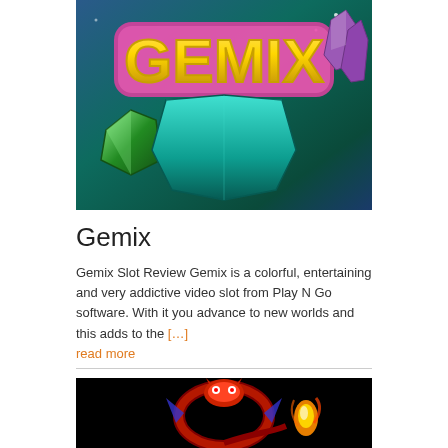[Figure (illustration): Gemix slot game logo image — colorful title text 'GEMIX' in gold 3D lettering with pink outline, green crystal gem on left, teal geometric gem shape at bottom center, purple crystals on right, teal/blue dark background]
Gemix
Gemix Slot Review Gemix is a colorful, entertaining and very addictive video slot from Play N Go software. With it you advance to new worlds and this adds to the [...] read more
[Figure (illustration): Dragon creature image on black background — stylized dragon/serpent with red and orange coloring, flame effects, pixel-art or retro game style]